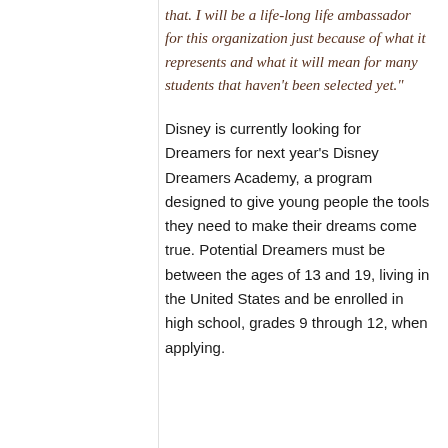…I will be a long life ambassador for this organization just because of what it represents and what it will mean for many students that haven't been selected yet."
Disney is currently looking for Dreamers for next year's Disney Dreamers Academy, a program designed to give young people the tools they need to make their dreams come true. Potential Dreamers must be between the ages of 13 and 19, living in the United States and be enrolled in high school, grades 9 through 12, when applying.